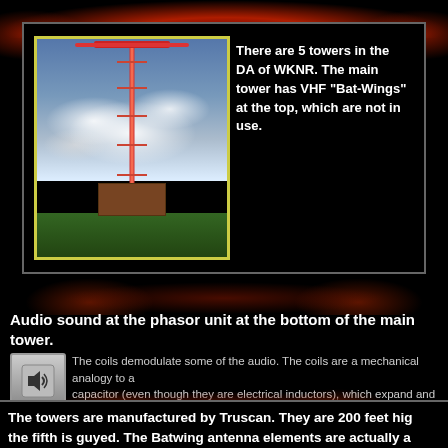[Figure (photo): Photo of a tall radio transmission tower (WKNR) against a cloudy sky, with a small building at the base, surrounded by greenery. Yellow border frame.]
There are 5 towers in the DA of WKNR. The main tower has VHF "Bat-Wings" at the top, which are not in use.
Audio sound at the phasor unit at the bottom of the main tower.
[Figure (illustration): Speaker/audio icon — a small square button with a loudspeaker symbol indicating audio content.]
The coils demodulate some of the audio. The coils are a mechanical analogy to a capacitor (even though they are electrical inductors), which expand and contract with the intensity of the RF signal, but not physically to the RF, itself, causing a mechanical demodulation.
The towers are manufactured by Truscan. They are 200 feet hig the fifth is guyed. The Batwing antenna elements are actually a 99.5 broadcast from this site until the 60's.